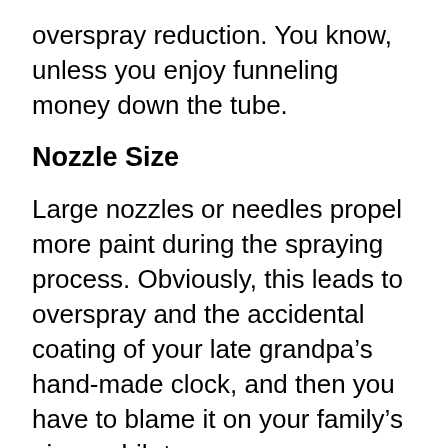overspray reduction. You know, unless you enjoy funneling money down the tube.
Nozzle Size
Large nozzles or needles propel more paint during the spraying process. Obviously, this leads to overspray and the accidental coating of your late grandpa’s hand-made clock, and then you have to blame it on your family’s gimpy shih tzu.
In order to avoid producing such lame excuses, make sure to check your nozzle size before starting your painting...